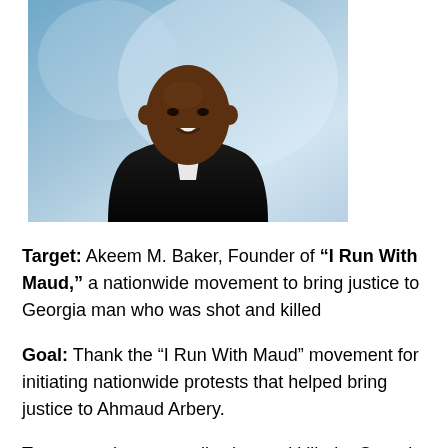[Figure (photo): Portrait photo of a young Black man wearing a black suit and bow tie, with a blue/grey studio backdrop.]
Target: Akeem M. Baker, Founder of “I Run With Maud,” a nationwide movement to bring justice to Georgia man who was shot and killed
Goal: Thank the “I Run With Maud” movement for initiating nationwide protests that helped bring justice to Ahmaud Arbery.
Two men who reportedly shot and killed a Georgia black man, Ahmaud Arbery, while he was jogging were recently charged with murder. Details of the incident can be found in this petition. This comes after months of nationwide outrage regarding the justice system’s slow response to the